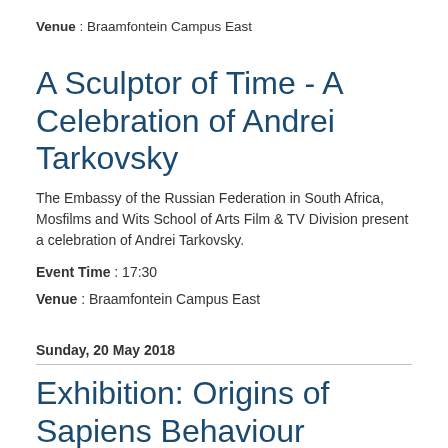Venue : Braamfontein Campus East
A Sculptor of Time - A Celebration of Andrei Tarkovsky
The Embassy of the Russian Federation in South Africa, Mosfilms and Wits School of Arts Film & TV Division present a celebration of Andrei Tarkovsky.
Event Time : 17:30
Venue : Braamfontein Campus East
Sunday, 20 May 2018
Exhibition: Origins of Sapiens Behaviour